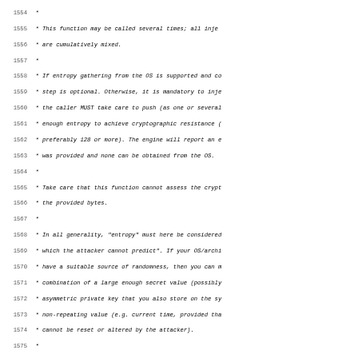Source code listing lines 1555-1586, C code comments and function declaration for br_ssl_engine_inject_entropy
[Figure (screenshot): Code listing showing C source file with line numbers 1554-1586, containing documentation comments and a function signature for br_ssl_engine_inject_entropy]